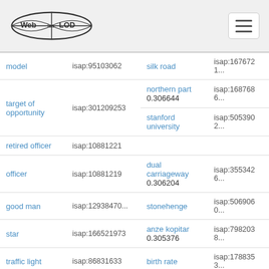Web isa LOD
| term | isap | label | isap2 |
| --- | --- | --- | --- |
| model | isap:95103062 | silk road | isap:1676721... |
| target of opportunity | isap:301209253 | northern part
0.306644 | isap:1687686... |
|  |  | stanford university | isap:5053902... |
| retired officer | isap:10881221 |  |  |
| officer | isap:10881219 | dual carriageway
0.306204 | isap:3553426... |
| good man | isap:12938470... | stonehenge | isap:5069060... |
| star | isap:166521973 | anze kopitar
0.305376 | isap:7982038... |
| traffic light | isap:86831633 | birth rate | isap:1788353... |
| asia | isap:168470144 | cincinnati
0.304889 | isap:5036191... |
| member of the tea | isap:30734558... | second half | isap:1791963... |
|  |  | indian ocean | isap:1992638... |